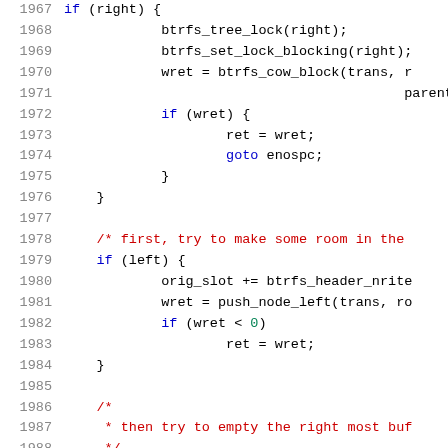[Figure (screenshot): Source code listing showing C code lines 1967-1988, with line numbers on the left and syntax-highlighted code on the right. Keywords in blue, comments in red, identifiers in black, on white background.]